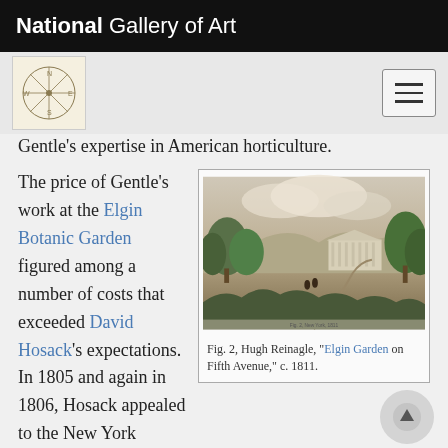National Gallery of Art
Gentle's expertise in American horticulture.
The price of Gentle's work at the Elgin Botanic Garden figured among a number of costs that exceeded David Hosack's expectations. In 1805 and again in 1806, Hosack appealed to the New York legislature for financial support, as "The expenses
[Figure (illustration): Sepia-toned engraving of a landscape showing a neoclassical building (Elgin Garden) surrounded by trees, with a path leading through the grounds. Hugh Reinagle, 'Elgin Garden on Fifth Avenue,' c. 1811.]
Fig. 2, Hugh Reinagle, “Elgin Garden on Fifth Avenue,” c. 1811.